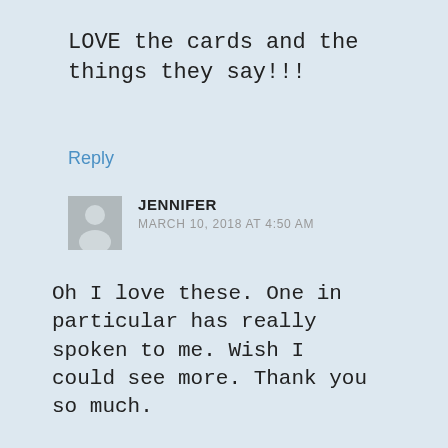LOVE the cards and the things they say!!!
Reply
JENNIFER
MARCH 10, 2018 AT 4:50 AM
Oh I love these. One in particular has really spoken to me. Wish I could see more. Thank you so much.